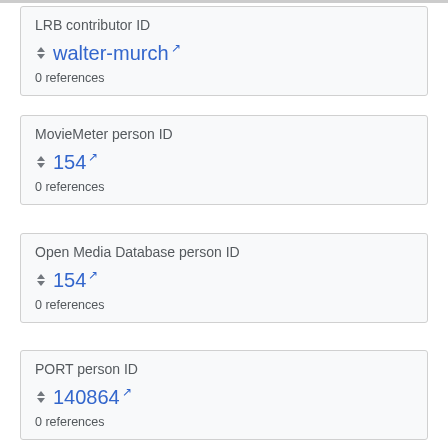LRB contributor ID
walter-murch
0 references
MovieMeter person ID
154
0 references
Open Media Database person ID
154
0 references
PORT person ID
140864
0 references